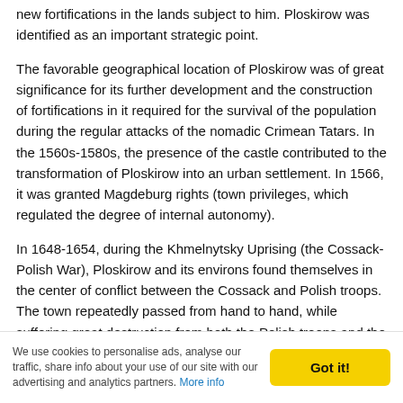new fortifications in the lands subject to him. Ploskirow was identified as an important strategic point.
The favorable geographical location of Ploskirow was of great significance for its further development and the construction of fortifications in it required for the survival of the population during the regular attacks of the nomadic Crimean Tatars. In the 1560s-1580s, the presence of the castle contributed to the transformation of Ploskirow into an urban settlement. In 1566, it was granted Magdeburg rights (town privileges, which regulated the degree of internal autonomy).
In 1648-1654, during the Khmelnytsky Uprising (the Cossack-Polish War), Ploskirow and its environs found themselves in the center of conflict between the Cossack and Polish troops. The town repeatedly passed from hand to hand, while suffering great destruction from both the Polish troops and the Cossack and insurgent detachments, and was eventually devastated. In 1672, Ploskirow, like all of Podolia, was occupied by the Ottoman Empire. In 1699, the Ottomans left Podolia and Ploskirow again came under the control of Poland
We use cookies to personalise ads, analyse our traffic, share info about your use of our site with our advertising and analytics partners. More info